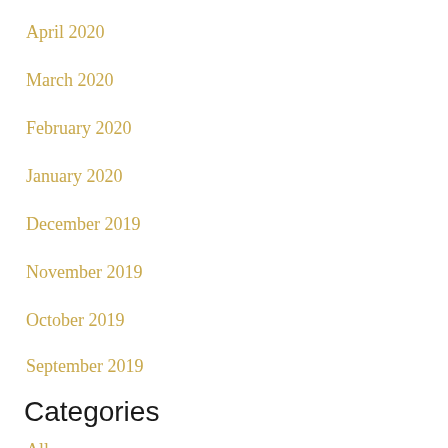April 2020
March 2020
February 2020
January 2020
December 2019
November 2019
October 2019
September 2019
Categories
All
2 Timothy
Christmas